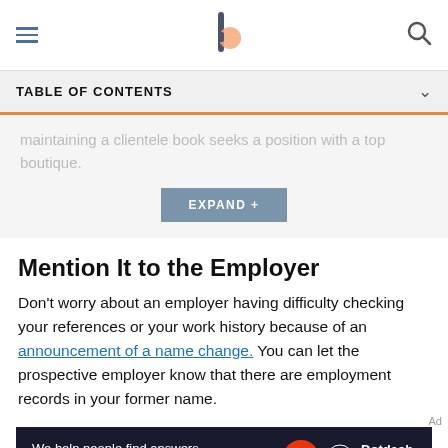[Navigation header with hamburger menu, logo, and search icon]
TABLE OF CONTENTS
maintaining a clientele book seeks a position with a top boutique.
EXPAND +
Mention It to the Employer
Don't worry about an employer having difficulty checking your references or your work history because of an announcement of a name change. You can let the prospective employer know that there are employment records in your former name.
Ad
[Figure (other): Advertisement banner: We help people find answers, solve problems and get inspired. Dotdash Meredith logo.]